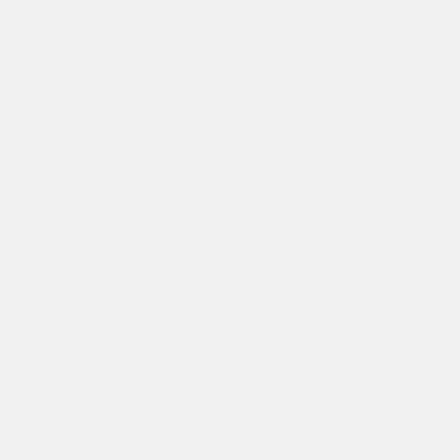Deprecated: preg_replace(): The /e modifier is deprecated, use preg_replace_callback instead in /home/potsdam/includes/formatDate on line 76
Deprecated: preg_replace(): The /e modifier is deprecated, use preg_replace_callback instead in /home/potsdam/content on line 398
Hier könnt...